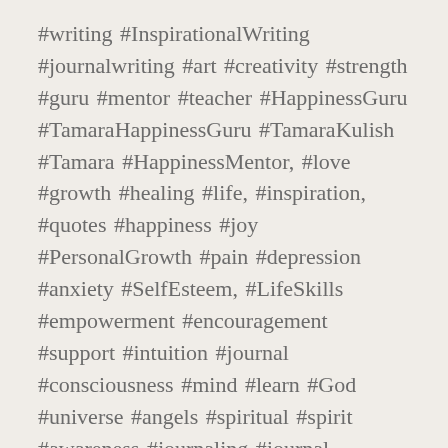#writing #InspirationalWriting #journalwriting #art #creativity #strength #guru #mentor #teacher #HappinessGuru #TamaraHappinessGuru #TamaraKulish #Tamara #HappinessMentor, #love #growth #healing #life, #inspiration, #quotes #happiness #joy #PersonalGrowth #pain #depression #anxiety #SelfEsteem, #LifeSkills #empowerment #encouragement #support #intuition #journal #consciousness #mind #learn #God #universe #angels #spiritual #spirit #awareness #journaling #journal #boundaries #emotionalhealth #mentalhealth #emotions #control #Amazon #Kindle #Twitter #Goodreads #Facebook #blog #author #publishing #encouragement